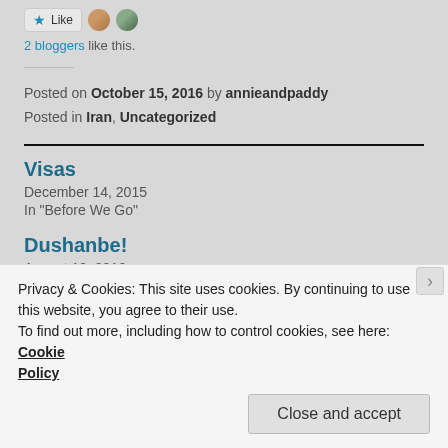2 bloggers like this.
Posted on October 15, 2016 by annieandpaddy
Posted in Iran, Uncategorized
Visas
December 14, 2015
In "Before We Go"
Dushanbe!
August 19, 2016
Privacy & Cookies: This site uses cookies. By continuing to use this website, you agree to their use.
To find out more, including how to control cookies, see here: Cookie Policy